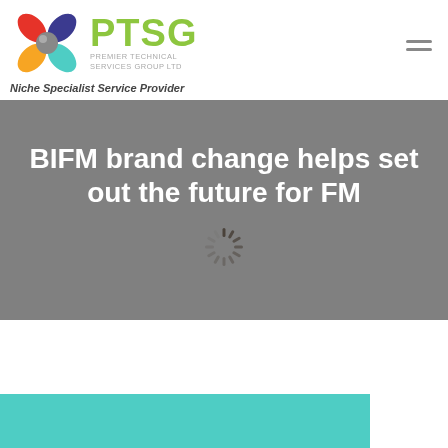[Figure (logo): PTSG Premier Technical Services Group Ltd logo with colorful flower/cross icon, green PTSG text, and tagline Niche Specialist Service Provider]
BIFM brand change helps set out the future for FM
[Figure (other): Loading spinner animation in gray banner]
[Figure (other): Teal/turquoise colored section at the bottom of the page with a white box overlay]